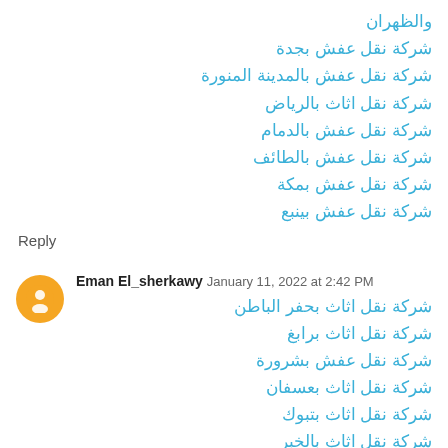والظهران
شركة نقل عفش بجدة
شركة نقل عفش بالمدينة المنورة
شركة نقل اثاث بالرياض
شركة نقل عفش بالدمام
شركة نقل عفش بالطائف
شركة نقل عفش بمكة
شركة نقل عفش بينبع
Reply
Eman El_sherkawy January 11, 2022 at 2:42 PM
شركة نقل اثاث بحفر الباطن
شركة نقل اثاث برابغ
شركة نقل عفش بشرورة
شركة نقل اثاث بعسفان
شركة نقل اثاث بتبوك
شركة نقل اثاث بالخبر
شركة نقل اثاث بالاحساء
شركة نقل اثاث بالقطيف
Reply